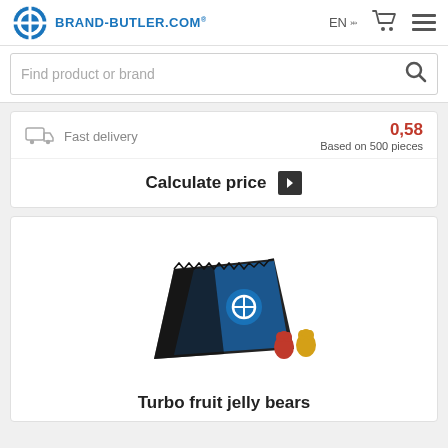[Figure (logo): Brand-Butler.com logo with blue circle icon and bold blue text BRAND-BUTLER.COM]
EN
[Figure (illustration): Shopping cart icon]
[Figure (illustration): Hamburger menu icon (three horizontal lines)]
Find product or brand
[Figure (illustration): Search (magnifying glass) icon]
[Figure (illustration): Delivery truck icon]
Fast delivery
0,58
Based on 500 pieces
Calculate price
[Figure (photo): Black and blue branded candy bag with two gummy bears (red and yellow) beside it]
Turbo fruit jelly bears